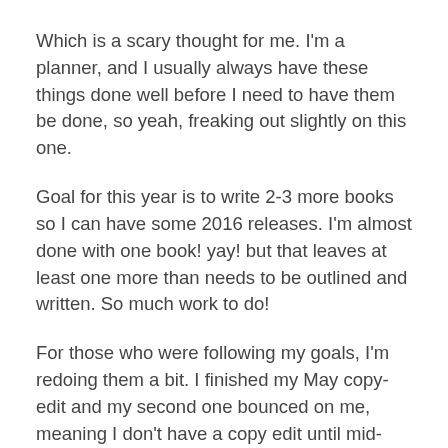Which is a scary thought for me. I'm a planner, and I usually always have these things done well before I need to have them be done, so yeah, freaking out slightly on this one.
Goal for this year is to write 2-3 more books so I can have some 2016 releases. I'm almost done with one book! yay! but that leaves at least one more than needs to be outlined and written. So much work to do!
For those who were following my goals, I'm redoing them a bit. I finished my May copy-edit and my second one bounced on me, meaning I don't have a copy edit until mid-June now. *evil laugh* This also means I get to massively focus on my own work for the first time in something like 8 months. So here goes, new goals and